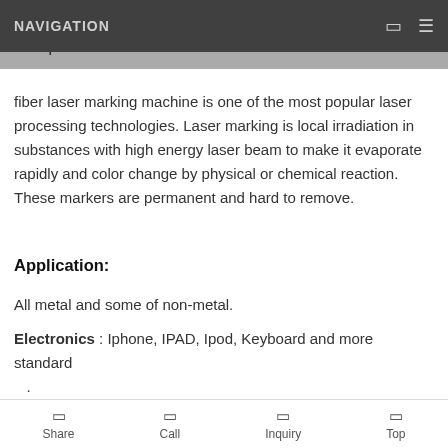NAVIGATION
structure,small and compact size,less occupied area,easy transportation
fiber laser marking machine is one of the most popular laser processing technologies. Laser marking is local irradiation in substances with high energy laser beam to make it evaporate rapidly and color change by physical or chemical reaction. These markers are permanent and hard to remove.
Application:
All metal and some of non-metal.
Electronics : Iphone, IPAD, Ipod, Keyboard and more standard .
Share   Call   Inquiry   Top